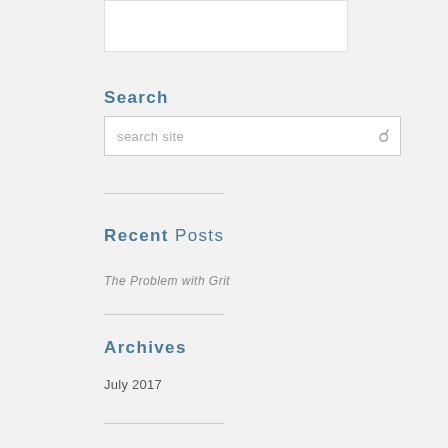[Figure (screenshot): White content box at top of page]
Search
[Figure (screenshot): Search input field with placeholder text 'search site' and a search icon on the right]
Recent Posts
The Problem with Grit
Archives
July 2017